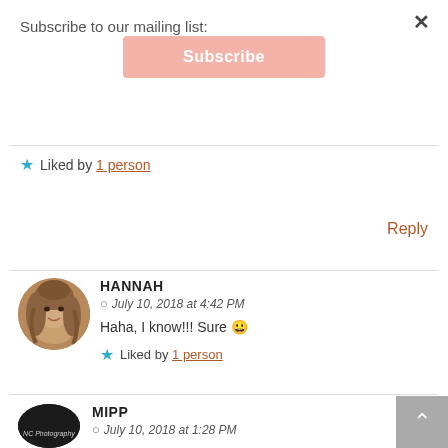Subscribe to our mailing list:
×
Subscribe
★ Liked by 1 person
Reply
HANNAH
July 10, 2018 at 4:42 PM
Haha, I know!!! Sure 😀
★ Liked by 1 person
MIPP
July 10, 2018 at 1:28 PM